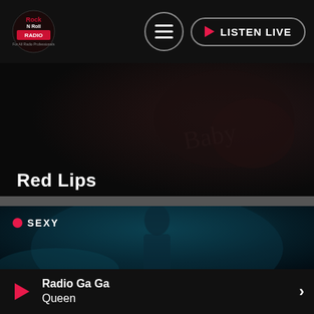Rock N Roll Radio — LISTEN LIVE
[Figure (screenshot): Dark banner image with tattoo/skin texture background showing the title Red Lips]
Red Lips
[Figure (screenshot): Dark teal-lit music video still showing a woman in a hood with SEXY category tag]
SEXY
Radio Ga Ga — Queen